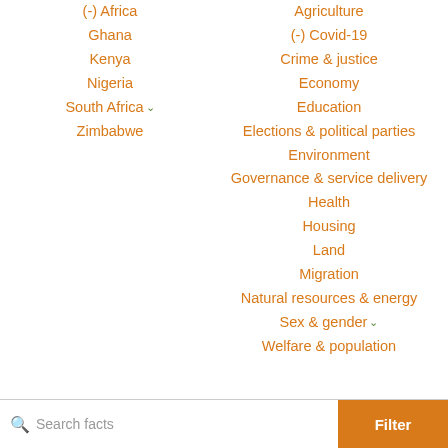(-) Africa
Ghana
Kenya
Nigeria
South Africa
Zimbabwe
Agriculture
(-) Covid-19
Crime & justice
Economy
Education
Elections & political parties
Environment
Governance & service delivery
Health
Housing
Land
Migration
Natural resources & energy
Sex & gender
Welfare & population
Search facts
Filter